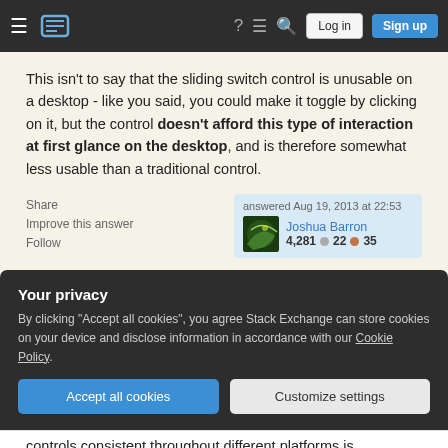Stack Exchange navigation bar with logo, help, chat, search, Log in, Sign up
This isn't to say that the sliding switch control is unusable on a desktop - like you said, you could make it toggle by clicking on it, but the control doesn't afford this type of interaction at first glance on the desktop, and is therefore somewhat less usable than a traditional control.
Share | Improve this answer | Follow | answered Aug 19, 2013 at 22:53 | Joshua Barron | 4,281 ◎22 ◎35
Your privacy
By clicking "Accept all cookies", you agree Stack Exchange can store cookies on your device and disclose information in accordance with our Cookie Policy.
Accept all cookies | Customize settings
controls consistent throughout different platforms is